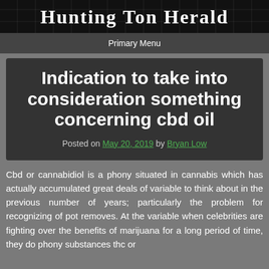Hunting Ton Herald
Primary Menu
Indication to take into consideration something concerning cbd oil
Posted on May 20, 2019 by Bryan Low
Cbd or cannabidiol is a phony situated in cannabis which has actually accumulated great deals of variable to think about in the previous number of years; particularly the problem for recognizing of pot removes. At the variable when celebrities are fighting over the benefits of marijuana for a long period of time, they do phony substances thc or